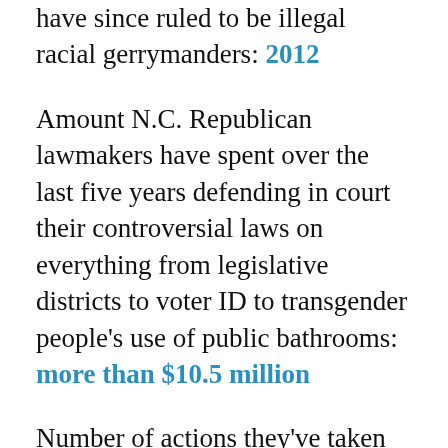have since ruled to be illegal racial gerrymanders: 2012
Amount N.C. Republican lawmakers have spent over the last five years defending in court their controversial laws on everything from legislative districts to voter ID to transgender people's use of public bathrooms: more than $10.5 million
Number of actions they've taken in recent years to change the makeup and independence of state, district and local courts: at least 12
Date on which the N.C. legislature sustained a bill eliminating judicial primary elections that Democratic Gov. Roy Cooper had vetoed: 10/10/2017